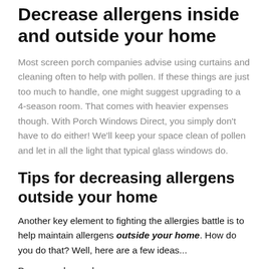Decrease allergens inside and outside your home
Most screen porch companies advise using curtains and cleaning often to help with pollen. If these things are just too much to handle, one might suggest upgrading to a 4-season room. That comes with heavier expenses though. With Porch Windows Direct, you simply don't have to do either! We'll keep your space clean of pollen and let in all the light that typical glass windows do.
Tips for decreasing allergens outside your home
Another key element to fighting the allergies battle is to help maintain allergens outside your home. How do you do that? Well, here are a few ideas...
Power wash your home